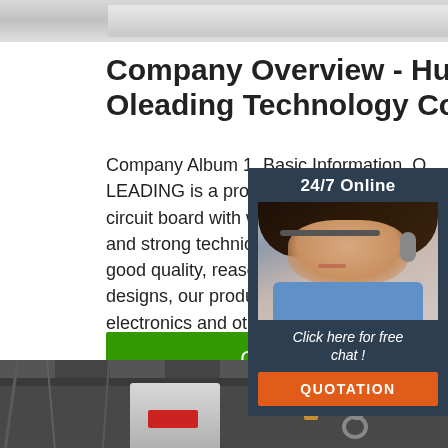[Figure (photo): Top portion of an indoor/outdoor industrial or company facility image, cropped at top of page]
Company Overview - Huizhou Oleading Technology Co.,
Company Album 1. Basic Information. O... LEADING is a professional supplier of pr... circuit board with well-equipped testing f... and strong technical force.With a wide ra... good quality, reasonable prices and styli... designs, our products are extensively us... electronics and other industries.Our pro... widely recognized and ...
[Figure (photo): 24/7 Online chat widget with a photo of a smiling woman wearing a headset and blue shirt, with a QUOTATION button]
[Figure (photo): Bottom portion showing interior of industrial facility/warehouse with overhead crane equipment]